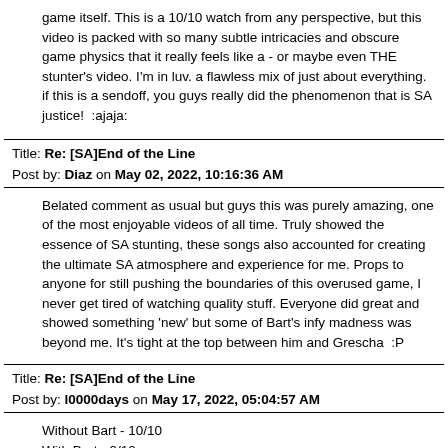game itself. This is a 10/10 watch from any perspective, but this video is packed with so many subtle intricacies and obscure game physics that it really feels like a - or maybe even THE stunter's video. I'm in luv. a flawless mix of just about everything. if this is a sendoff, you guys really did the phenomenon that is SA justice!  :ajaja:
Title: Re: [SA]End of the Line
Post by: Diaz on May 02, 2022, 10:16:36 AM
Belated comment as usual but guys this was purely amazing, one of the most enjoyable videos of all time. Truly showed the essence of SA stunting, these songs also accounted for creating the ultimate SA atmosphere and experience for me. Props to anyone for still pushing the boundaries of this overused game, I never get tired of watching quality stuff. Everyone did great and showed something 'new' but some of Bart's infy madness was beyond me. It's tight at the top between him and Grescha  :P
Title: Re: [SA]End of the Line
Post by: l0000days on May 17, 2022, 05:04:57 AM
Without Bart - 10/10
With Bart - 9/10
The stunts in the red infernus are all pretty funny, but the monstrosity at 3:58 actually made me jealous. I could've never